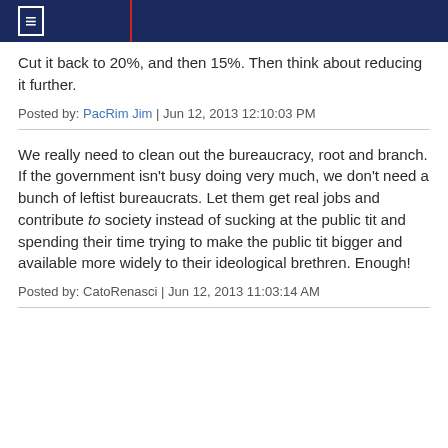≡
Cut it back to 20%, and then 15%. Then think about reducing it further.
Posted by: PacRim Jim | Jun 12, 2013 12:10:03 PM
We really need to clean out the bureaucracy, root and branch. If the government isn't busy doing very much, we don't need a bunch of leftist bureaucrats. Let them get real jobs and contribute to society instead of sucking at the public tit and spending their time trying to make the public tit bigger and available more widely to their ideological brethren. Enough!
Posted by: CatoRenasci | Jun 12, 2013 11:03:14 AM